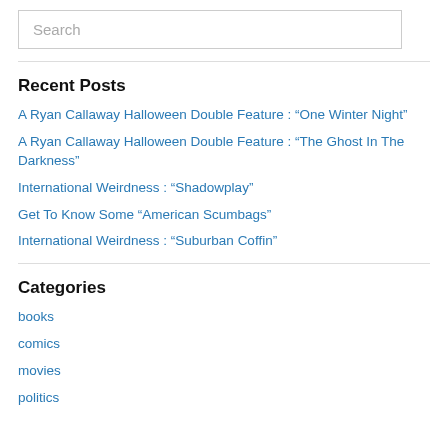Search
Recent Posts
A Ryan Callaway Halloween Double Feature : “One Winter Night”
A Ryan Callaway Halloween Double Feature : “The Ghost In The Darkness”
International Weirdness : “Shadowplay”
Get To Know Some “American Scumbags”
International Weirdness : “Suburban Coffin”
Categories
books
comics
movies
politics